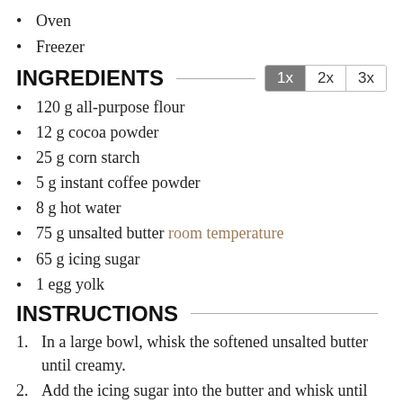Oven
Freezer
INGREDIENTS
120 g all-purpose flour
12 g cocoa powder
25 g corn starch
5 g instant coffee powder
8 g hot water
75 g unsalted butter room temperature
65 g icing sugar
1 egg yolk
INSTRUCTIONS
1. In a large bowl, whisk the softened unsalted butter until creamy.
2. Add the icing sugar into the butter and whisk until combined with no lumps.